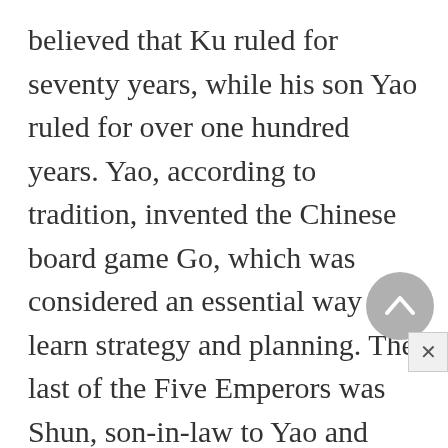believed that Ku ruled for seventy years, while his son Yao ruled for over one hundred years. Yao, according to tradition, invented the Chinese board game Go, which was considered an essential way to learn strategy and planning. The last of the Five Emperors was Shun, son-in-law to Yao and ruler for nearly fifty years. He was originally a simple farmer, but his humility and dedication to religion won him a reputation that spread all the way to Yao's throne; since Yao was